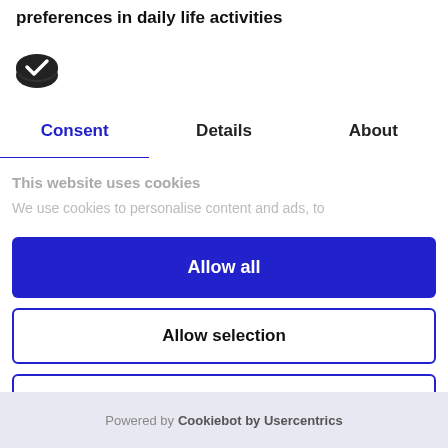preferences in daily life activities
[Figure (logo): Cookiebot logo - dark oval with white checkmark]
Consent | Details | About
This website uses cookies
We use cookies to personalise content and ads, to
Allow all
Allow selection
Deny
Powered by Cookiebot by Usercentrics